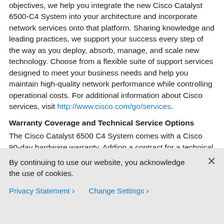objectives, we help you integrate the new Cisco Catalyst 6500-C4 System into your architecture and incorporate network services onto that platform. Sharing knowledge and leading practices, we support your success every step of the way as you deploy, absorb, manage, and scale new technology. Choose from a flexible suite of support services designed to meet your business needs and help you maintain high-quality network performance while controlling operational costs. For additional information about Cisco services, visit http://www.cisco.com/go/services.
Warranty Coverage and Technical Service Options
The Cisco Catalyst 6500 C4 System comes with a Cisco 90-day hardware warranty. Adding a contract for a technical service offering such as Cisco SMARTnet® Service to your device coverage provides access to the Cisco Technical Assistance Center (TAC) and can provide a variety of hardware replacement options to meet critical business needs, updates for licensed OS software, and registered access to the extensive Cisco.com knowledge base and
By continuing to use our website, you acknowledge the use of cookies.
Privacy Statement › Change Settings ›